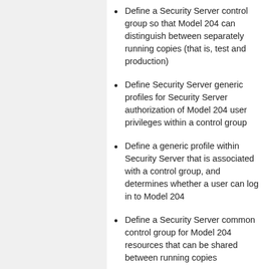Define a Security Server control group so that Model 204 can distinguish between separately running copies (that is, test and production)
Define Security Server generic profiles for Security Server authorization of Model 204 user privileges within a control group
Define a generic profile within Security Server that is associated with a control group, and determines whether a user can log in to Model 204
Define a Security Server common control group for Model 204 resources that can be shared between running copies
Define a default user priority class, or define the Security